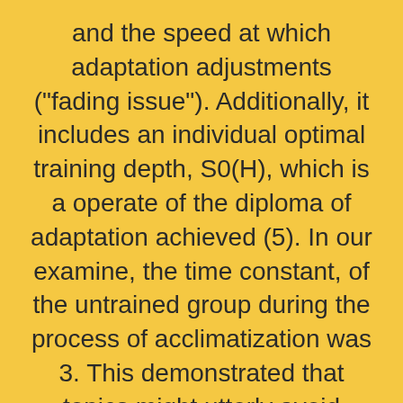and the speed at which adaptation adjustments ("fading issue"). Additionally, it includes an individual optimal training depth, S0(H), which is a operate of the diploma of adaptation achieved (5). In our examine, the time constant, of the untrained group during the process of acclimatization was 3. This demonstrated that topics might utterly avoid reactions to altitude and guarantee minimal well